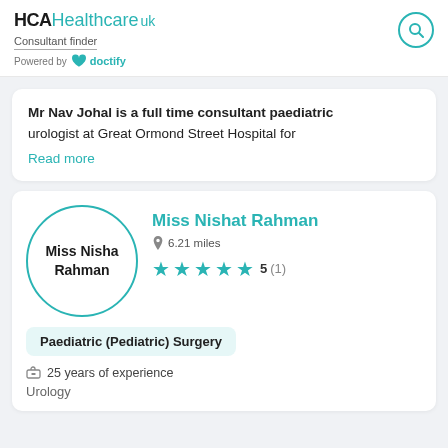HCAHealthcare uk Consultant finder Powered by doctify
Mr Nav Johal is a full time consultant paediatric urologist at Great Ormond Street Hospital for Read more
Miss Nishat Rahman
6.21 miles
5 (1)
Paediatric (Pediatric) Surgery
25 years of experience
Urology